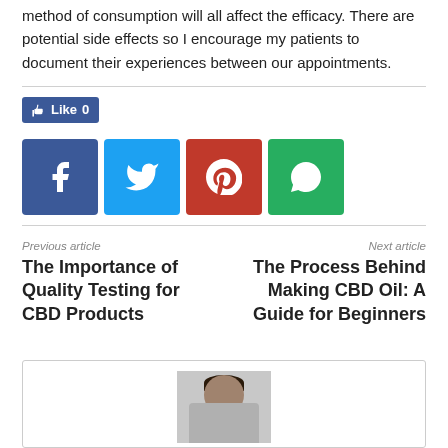method of consumption will all affect the efficacy. There are potential side effects so I encourage my patients to document their experiences between our appointments.
[Figure (other): Facebook Like button showing count 0]
[Figure (other): Social media share buttons: Facebook, Twitter, Pinterest, WhatsApp]
Previous article
The Importance of Quality Testing for CBD Products
Next article
The Process Behind Making CBD Oil: A Guide for Beginners
[Figure (photo): Author photo showing a man from the shoulders up]